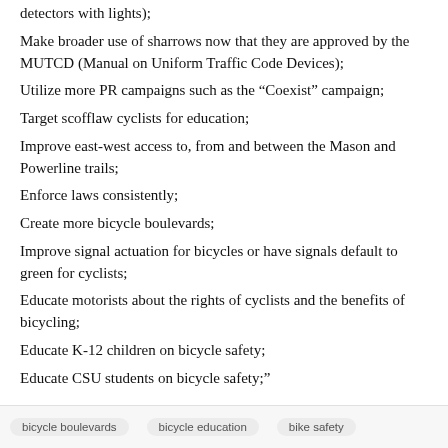detectors with lights);
Make broader use of sharrows now that they are approved by the MUTCD (Manual on Uniform Traffic Code Devices);
Utilize more PR campaigns such as the “Coexist” campaign;
Target scofflaw cyclists for education;
Improve east-west access to, from and between the Mason and Powerline trails;
Enforce laws consistently;
Create more bicycle boulevards;
Improve signal actuation for bicycles or have signals default to green for cyclists;
Educate motorists about the rights of cyclists and the benefits of bicycling;
Educate K-12 children on bicycle safety;
Educate CSU students on bicycle safety;”
bicycle boulevards   bicycle education   bike safety